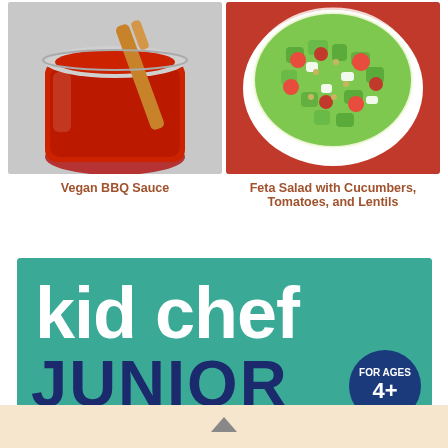[Figure (photo): Photo of a jar of red BBQ sauce with a wooden spoon, shot from above on a white/grey background]
Vegan BBQ Sauce
[Figure (photo): Photo of a bowl of feta salad with cucumber, tomatoes, and lentils on a red background, shot from above]
Feta Salad with Cucumbers, Tomatoes, and Lentils
[Figure (photo): Book cover image: Kid Chef Junior, for ages 4+, teal/green background with large white and navy text]
▲